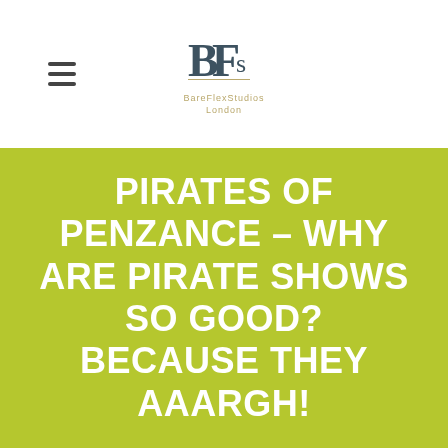[Figure (logo): BareFlexStudios London logo with stylized BFs monogram in dark grey/teal with gold text below]
PIRATES OF PENZANCE – WHY ARE PIRATE SHOWS SO GOOD? BECAUSE THEY AAARGH!